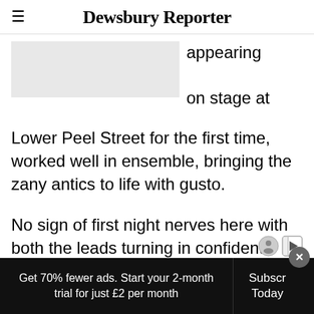Dewsbury Reporter
[Figure (photo): Partially visible image (greyed out/placeholder) on the left side, with text 'appearing on stage at' to the right]
appearing on stage at Lower Peel Street for the first time, worked well in ensemble, bringing the zany antics to life with gusto.
No sign of first night nerves here with both the leads turning in confident engaging performances.
Get 70% fewer ads. Start your 2-month trial for just £2 per month  Subscribe Today